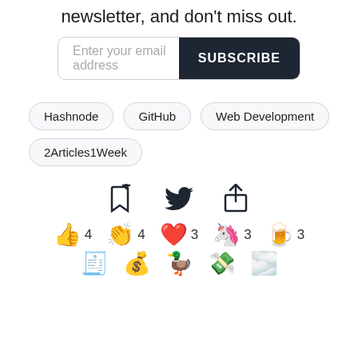newsletter, and don't miss out.
[Figure (screenshot): Email subscription input field with placeholder 'Enter your email address' and a dark 'SUBSCRIBE' button]
Hashnode
GitHub
Web Development
2Articles1Week
[Figure (infographic): Three action icons: bookmark-plus, Twitter bird, share/export]
[Figure (infographic): Emoji reaction row: thumbs up 4, clapping hands 4, heart 3, unicorn 3, beer 3, and a second partial row of emojis]